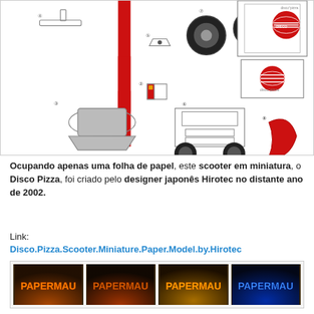[Figure (illustration): Paper model cut-out sheet for a Disco Pizza scooter miniature, showing numbered parts including wheels, body pieces, a pizza box with red Disco Pizza logo, handlebars, and red/white body panels laid out on white background.]
Ocupando apenas uma folha de papel, este scooter em miniatura, o Disco Pizza, foi criado pelo designer japonês Hirotec no distante ano de 2002.
Link:
Disco.Pizza.Scooter.Miniature.Paper.Model.by.Hirotec
[Figure (illustration): Row of four banner/advertisement images with decorative fire and dark backgrounds, each displaying the text 'PAPERMAU' or similar in stylized letters (orange, red, and blue variants).]